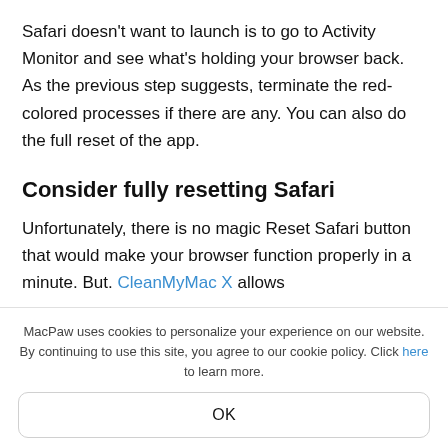Safari doesn't want to launch is to go to Activity Monitor and see what's holding your browser back. As the previous step suggests, terminate the red-colored processes if there are any. You can also do the full reset of the app.
Consider fully resetting Safari
Unfortunately, there is no magic Reset Safari button that would make your browser function properly in a minute. But. CleanMyMac X allows
MacPaw uses cookies to personalize your experience on our website. By continuing to use this site, you agree to our cookie policy. Click here to learn more.
OK